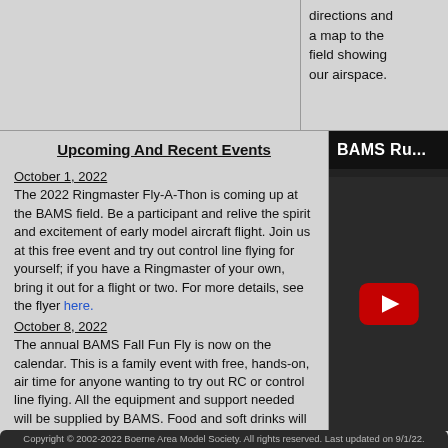directions and a map to the field showing our airspace.
Upcoming And Recent Events
October 1, 2022
The 2022 Ringmaster Fly-A-Thon is coming up at the BAMS field. Be a participant and relive the spirit and excitement of early model aircraft flight. Join us at this free event and try out control line flying for yourself; if you have a Ringmaster of your own, bring it out for a flight or two. For more details, see the flyer here.
October 8, 2022
The annual BAMS Fall Fun Fly is now on the calendar. This is a family event with free, hands-on, air time for anyone wanting to try out RC or control line flying. All the equipment and support needed will be supplied by BAMS. Food and soft drinks will be available starting about lunch time. Check out the flyer here.
May 21, 2021
BAMS annual Spring Fun Fly was a great success with food and fun for all. Kudos to Lee and his culinary crew for a delicious lunch. As usual, Field Manager Chris had
[Figure (screenshot): YouTube video thumbnail showing BAMS Ru... title on dark background with red play button]
Copyright © 2002-2022 Boerne Area Model Society. All rights reserved. Last updated on 9/1/22.